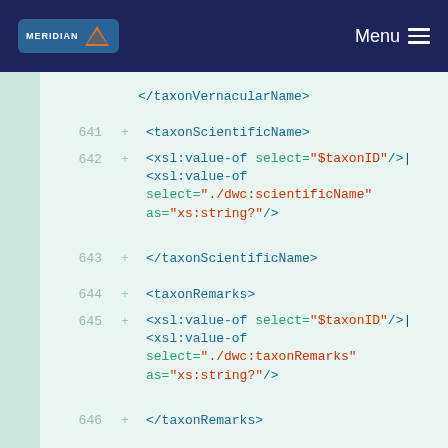MERIDIAN | Menu
</taxonVernacularName>
641 + <taxonScientificName>
642 + <xsl:value-of select="$taxonID"/>|<xsl:value-of select="./dwc:scientificName" as="xs:string?"/>
643 + </taxonScientificName>
644 + <taxonRemarks>
645 + <xsl:value-of select="$taxonID"/>|<xsl:value-of select="./dwc:taxonRemarks" as="xs:string?"/>
646 + </taxonRemarks>
647 + </xsl:for-each>